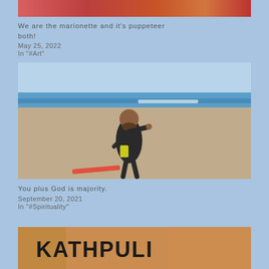[Figure (photo): Partial top of a colorful image, cropped at top of page]
We are the marionette and it's puppeteer both!
May 25, 2022
In "#Art"
[Figure (photo): A man in a black and yellow wetsuit standing on a sandy beach pointing at the camera, with the ocean and sky in the background]
You plus God is majority.
September 20, 2021
In "#Spirituality"
[Figure (photo): Bottom of page showing colorful image with text KATHPULI visible]